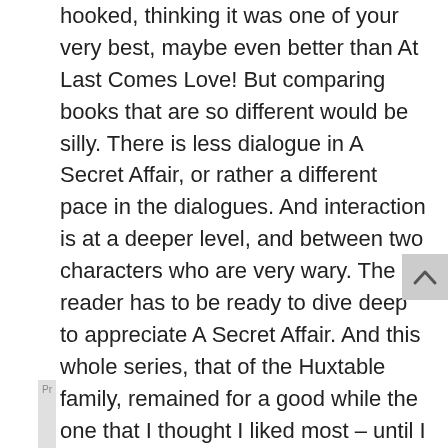hooked, thinking it was one of your very best, maybe even better than At Last Comes Love! But comparing books that are so different would be silly. There is less dialogue in A Secret Affair, or rather a different pace in the dialogues. And interaction is at a deeper level, and between two characters who are very wary. The reader has to be ready to dive deep to appreciate A Secret Affair. And this whole series, that of the Huxtable family, remained for a good while the one that I thought I liked most – until I entered more into the Westcott series. So I will just say that those two series feel like a new chapter in reading Mary Balogh. And with those I am also finding that I get more and more into the habit of reading again some books – which is rather unusual for me. The first book of yours that I surprised myself rereading is Simply Perfect. I just love Mrs. Martin. I also read again Slightly Dangerous (of course I read it again! I could add). What a book. What a character, I mean both the Duke. What a